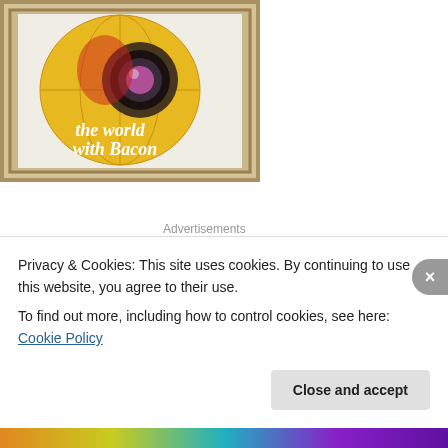[Figure (logo): Framed logo showing a globe with a camera lens, with cursive text 'the world with Bacon']
Advertisements
[Figure (logo): WordPress logo (circular W icon) on a beige/cream background advertisement placeholder]
Privacy & Cookies: This site uses cookies. By continuing to use this website, you agree to their use.
To find out more, including how to control cookies, see here: Cookie Policy
Close and accept